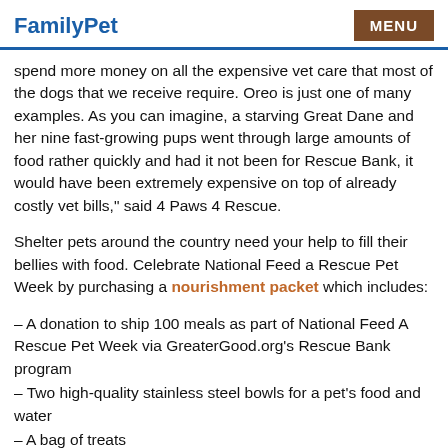FamilyPet  MENU
spend more money on all the expensive vet care that most of the dogs that we receive require. Oreo is just one of many examples. As you can imagine, a starving Great Dane and her nine fast-growing pups went through large amounts of food rather quickly and had it not been for Rescue Bank, it would have been extremely expensive on top of already costly vet bills," said 4 Paws 4 Rescue.
Shelter pets around the country need your help to fill their bellies with food. Celebrate National Feed a Rescue Pet Week by purchasing a nourishment packet which includes:
– A donation to ship 100 meals as part of National Feed A Rescue Pet Week via GreaterGood.org's Rescue Bank program
– Two high-quality stainless steel bowls for a pet's food and water
– A bag of treats